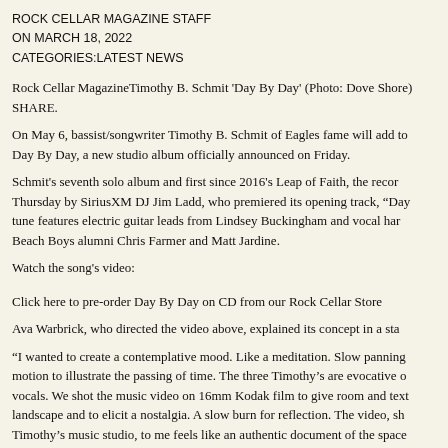ROCK CELLAR MAGAZINE STAFF
ON MARCH 18, 2022
CATEGORIES:LATEST NEWS
Rock Cellar MagazineTimothy B. Schmit 'Day By Day' (Photo: Dove Shore)
SHARE.
On May 6, bassist/songwriter Timothy B. Schmit of Eagles fame will add to
Day By Day, a new studio album officially announced on Friday.
Schmit's seventh solo album and first since 2016's Leap of Faith, the record
Thursday by SiriusXM DJ Jim Ladd, who premiered its opening track, “Day
tune features electric guitar leads from Lindsey Buckingham and vocal har
Beach Boys alumni Chris Farmer and Matt Jardine.
Watch the song's video:
Click here to pre-order Day By Day on CD from our Rock Cellar Store
Ava Warbrick, who directed the video above, explained its concept in a sta
“I wanted to create a contemplative mood. Like a meditation. Slow panning
motion to illustrate the passing of time. The three Timothy’s are evocative o
vocals. We shot the music video on 16mm Kodak film to give room and text
landscape and to elicit a nostalgia. A slow burn for reflection. The video, sh
Timothy’s music studio, to me feels like an authentic document of the space
in time.”